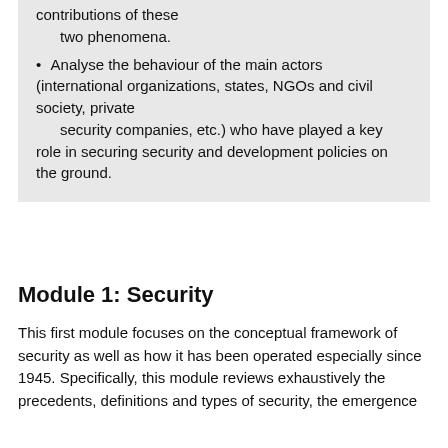contributions of these two phenomena.
Analyse the behaviour of the main actors (international organizations, states, NGOs and civil society, private security companies, etc.) who have played a key role in securing security and development policies on the ground.
Module 1: Security
This first module focuses on the conceptual framework of security as well as how it has been operated especially since 1945. Specifically, this module reviews exhaustively the precedents, definitions and types of security, the emergence